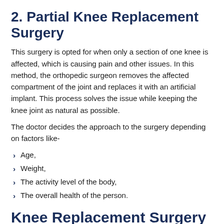2. Partial Knee Replacement Surgery
This surgery is opted for when only a section of one knee is affected, which is causing pain and other issues. In this method, the orthopedic surgeon removes the affected compartment of the joint and replaces it with an artificial implant. This process solves the issue while keeping the knee joint as natural as possible.
The doctor decides the approach to the surgery depending on factors like-
Age,
Weight,
The activity level of the body,
The overall health of the person.
Knee Replacement Surgery